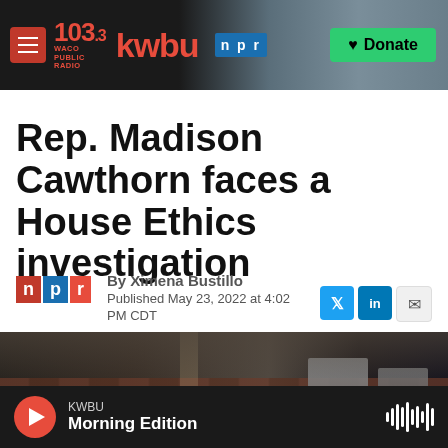103.3 KWBU · WACO PUBLIC RADIO · NPR · Donate
Rep. Madison Cawthorn faces a House Ethics investigation
By Ximena Bustillo
Published May 23, 2022 at 4:02 PM CDT
[Figure (photo): Interior view of U.S. House chamber with empty seats and two figures standing to the right side]
KWBU Morning Edition